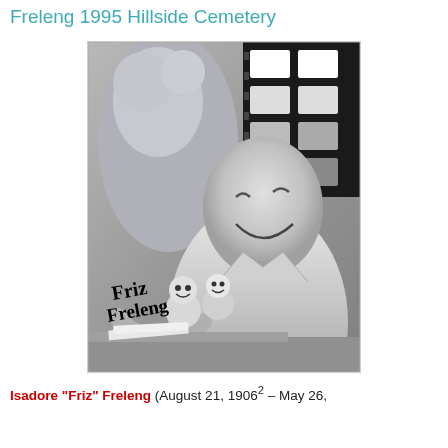Freleng 1995 Hillside Cemetery
[Figure (photo): Black and white signed photograph of Isadore 'Friz' Freleng sitting at a drawing desk, smiling, with cartoon character toys/figures in front of him and animated cartoon art in the background. A film strip panel is visible in the upper right. The photo is signed 'Friz Freleng' in cursive in the lower left.]
Isadore "Friz" Freleng (August 21, 1906[2] – May 26,